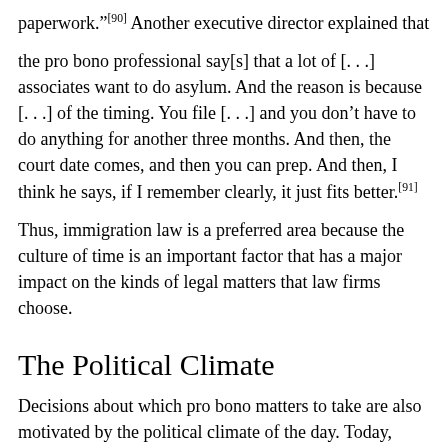paperwork."[90] Another executive director explained that
the pro bono professional say[s] that a lot of [. . .] associates want to do asylum. And the reason is because [. . .] of the timing. You file [. . .] and you don't have to do anything for another three months. And then, the court date comes, and then you can prep. And then, I think he says, if I remember clearly, it just fits better.[91]
Thus, immigration law is a preferred area because the culture of time is an important factor that has a major impact on the kinds of legal matters that law firms choose.
The Political Climate
Decisions about which pro bono matters to take are also motivated by the political climate of the day. Today, immigration has become a politically charged area of law.[92] While immigration law was generally not considered to be an area of poverty law until recently,[93] it has increasingly become a large focus of the work of many